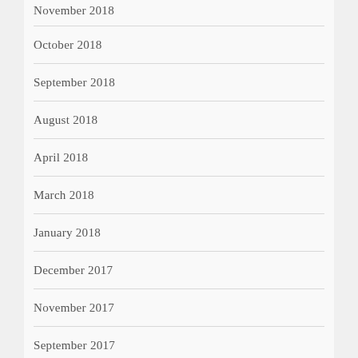November 2018
October 2018
September 2018
August 2018
April 2018
March 2018
January 2018
December 2017
November 2017
September 2017